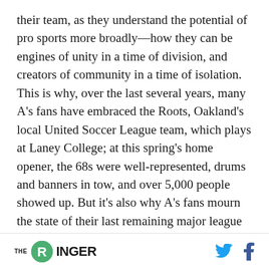their team, as they understand the potential of pro sports more broadly—how they can be engines of unity in a time of division, and creators of community in a time of isolation. This is why, over the last several years, many A's fans have embraced the Roots, Oakland's local United Soccer League team, which plays at Laney College; at this spring's home opener, the 68s were well-represented, drums and banners in tow, and over 5,000 people showed up. But it's also why A's fans mourn the state of their last remaining major league team. They know what they've been denied,
THE RINGER [twitter] [facebook]